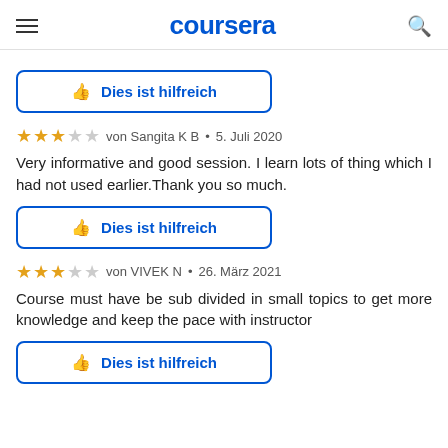coursera
[Figure (other): Dies ist hilfreich button with thumbs up icon, blue border]
von Sangita K B • 5. Juli 2020
Very informative and good session. I learn lots of thing which I had not used earlier.Thank you so much.
[Figure (other): Dies ist hilfreich button with thumbs up icon, blue border]
von VIVEK N • 26. März 2021
Course must have be sub divided in small topics to get more knowledge and keep the pace with instructor
[Figure (other): Dies ist hilfreich button with thumbs up icon, blue border]